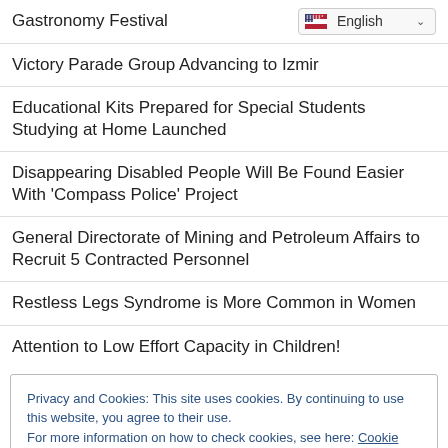Gastronomy Festival
Victory Parade Group Advancing to Izmir
Educational Kits Prepared for Special Students Studying at Home Launched
Disappearing Disabled People Will Be Found Easier With 'Compass Police' Project
General Directorate of Mining and Petroleum Affairs to Recruit 5 Contracted Personnel
Restless Legs Syndrome is More Common in Women
Attention to Low Effort Capacity in Children!
Privacy and Cookies: This site uses cookies. By continuing to use this website, you agree to their use.
For more information on how to check cookies, see here: Cookie Policy
OK
The Amount of Loading and Unloading at Chinese Ports